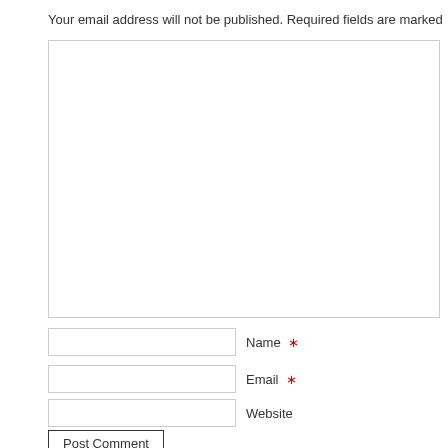Your email address will not be published. Required fields are marked *
[Figure (other): Large empty comment text area input box with light gray border]
Name *
Email *
Website
Post Comment
Notify me of new comments via email.